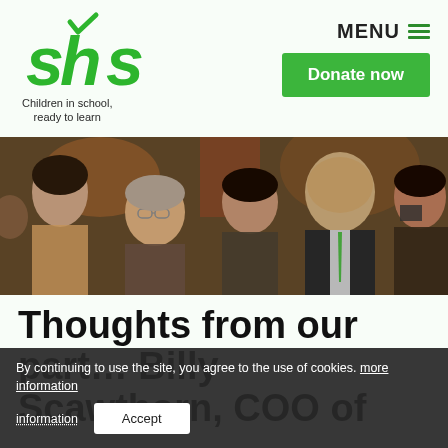[Figure (logo): SHS logo - green stylized letters 'shs' with a checkmark above, tagline 'Children in school, ready to learn']
MENU
Donate now
[Figure (photo): Group of adults at an event, including a man in a suit with a green tie, several women, looking attentively at something off-camera in what appears to be an indoor venue]
Thoughts from our party… Billy Scawthorn, COO of
By continuing to use the site, you agree to the use of cookies. more information
Accept